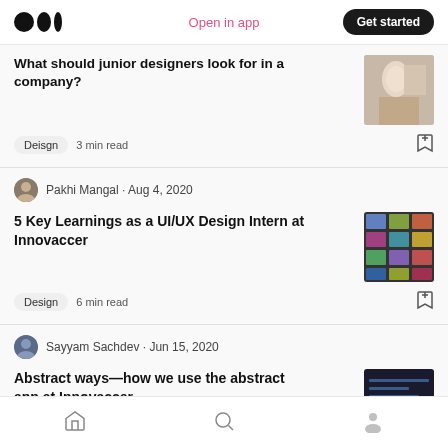Medium logo | Open in app | Get started
What should junior designers look for in a company?
Deisgn  3 min read
Pakhi Mangal · Aug 4, 2020
5 Key Learnings as a UI/UX Design Intern at Innovaccer
Design  6 min read
Sayyam Sachdev · Jun 15, 2020
Abstract ways—how we use the abstract app at Innovaccer
Home | Search | Profile